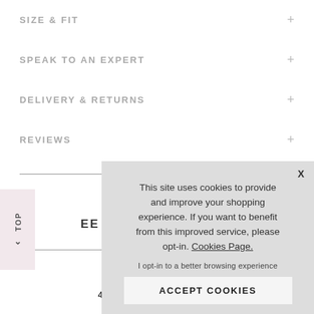SIZE & FIT
SPEAK TO AN EXPERT
DELIVERY & RETURNS
REVIEWS
EE WHA
EXC
4.94 Average   277 Reviews
This site uses cookies to provide and improve your shopping experience. If you want to benefit from this improved service, please opt-in. Cookies Page.
I opt-in to a better browsing experience
ACCEPT COOKIES